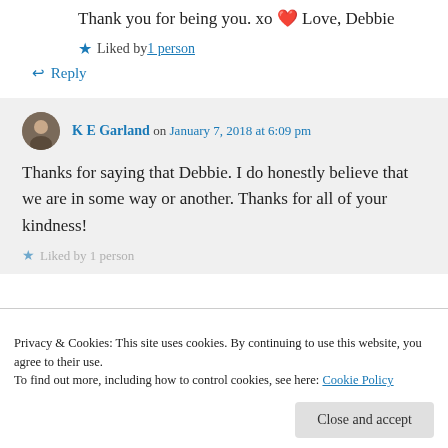Thank you for being you. xo ❤ Love, Debbie
★ Liked by 1 person
↩ Reply
K E Garland on January 7, 2018 at 6:09 pm
Thanks for saying that Debbie. I do honestly believe that we are in some way or another. Thanks for all of your kindness!
★ Liked by 1 person
Privacy & Cookies: This site uses cookies. By continuing to use this website, you agree to their use. To find out more, including how to control cookies, see here: Cookie Policy